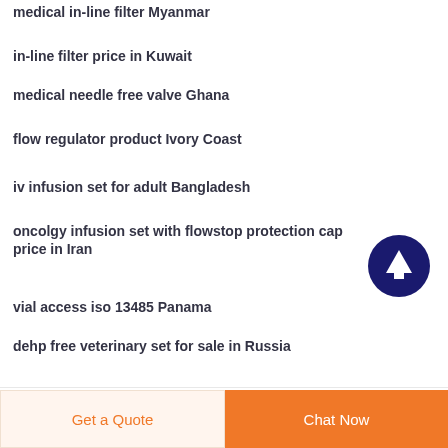medical in-line filter Myanmar
in-line filter price in Kuwait
medical needle free valve Ghana
flow regulator product Ivory Coast
iv infusion set for adult Bangladesh
oncolgy infusion set with flowstop protection cap price in Iran
vial access iso 13485 Panama
dehp free veterinary set for sale in Russia
[Figure (illustration): Dark blue circular button with upward arrow icon for scrolling to top]
Get a Quote
Chat Now